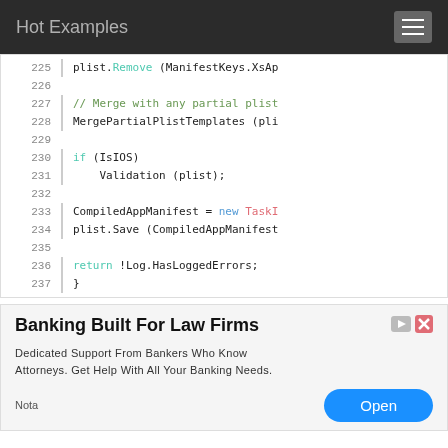Hot Examples
[Figure (screenshot): Code snippet showing C# code lines 225-237 with syntax highlighting. Lines include plist.Remove(ManifestKeys.XsAp..., MergePartialPlistTemplates(pli..., if (IsIOS) Validation(plist);, CompiledAppManifest = new TaskI..., plist.Save(CompiledAppManifest..., return !Log.HasLoggedErrors;, closing brace.]
[Figure (other): Advertisement banner: Banking Built For Law Firms. Dedicated Support From Bankers Who Know Attorneys. Get Help With All Your Banking Needs. Open button.]